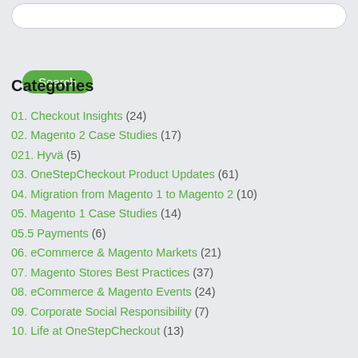[Figure (other): Search input bar (rounded rectangle, white background)]
[Figure (other): Green rounded Search button]
Categories
01. Checkout Insights (24)
02. Magento 2 Case Studies (17)
021. Hyvä (5)
03. OneStepCheckout Product Updates (61)
04. Migration from Magento 1 to Magento 2 (10)
05. Magento 1 Case Studies (14)
05.5 Payments (6)
06. eCommerce & Magento Markets (21)
07. Magento Stores Best Practices (37)
08. eCommerce & Magento Events (24)
09. Corporate Social Responsibility (7)
10. Life at OneStepCheckout (13)